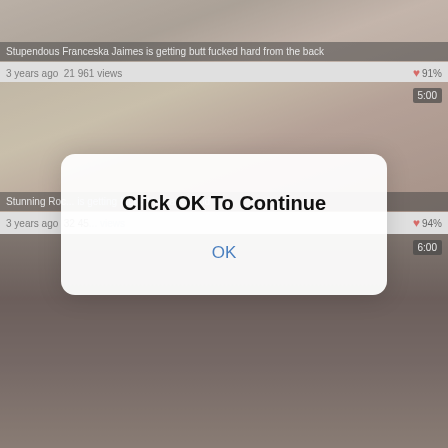[Figure (screenshot): Video thumbnail 1 - adult content video still]
Stupendous Franceska Jaimes is getting butt fucked hard from the back
3 years ago  21 961 views  ❤ 91%
[Figure (screenshot): Video thumbnail 2 - adult content video still with 5:00 duration badge]
Stunning Roc... is getting fucked her ass good
3 years ago  32 45... views  ❤ 94%
[Figure (screenshot): Video thumbnail 3 - adult content video still with 6:00 duration badge]
[Figure (screenshot): Modal dialog overlay with 'Click OK To Continue' and OK button]